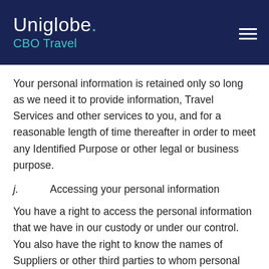Uniglobe. CBO Travel
Your personal information is retained only so long as we need it to provide information, Travel Services and other services to you, and for a reasonable length of time thereafter in order to meet any Identified Purpose or other legal or business purpose.
j.      Accessing your personal information
You have a right to access the personal information that we have in our custody or under our control. You also have the right to know the names of Suppliers or other third parties to whom personal information has been disclosed. Access may be subject to legal restrictions and we may be obliged or have the right to